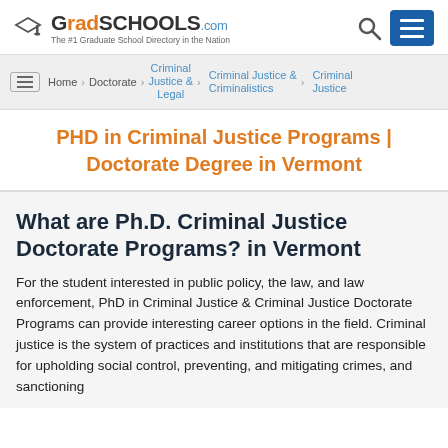GradSchools.com — The #1 Graduate School Directory in the Nation
Home > Doctorate > Criminal Justice & Legal > Criminal Justice & Criminalistics > Criminal Justice
PHD in Criminal Justice Programs | Doctorate Degree in Vermont
What are Ph.D. Criminal Justice Doctorate Programs? in Vermont
For the student interested in public policy, the law, and law enforcement, PhD in Criminal Justice & Criminal Justice Doctorate Programs can provide interesting career options in the field. Criminal justice is the system of practices and institutions that are responsible for upholding social control, preventing, and mitigating crimes, and sanctioning